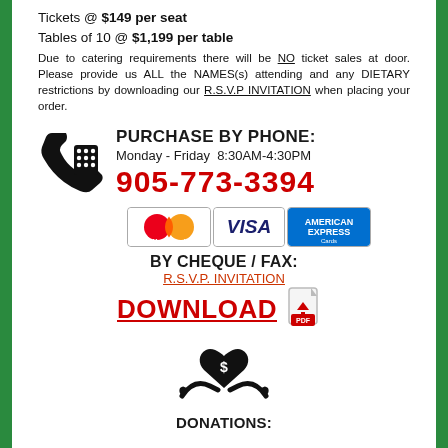Tickets @ $149 per seat
Tables of 10 @ $1,199 per table
Due to catering requirements there will be NO ticket sales at door. Please provide us ALL the NAMES(s) attending and any DIETARY restrictions by downloading our R.S.V.P INVITATION when placing your order.
PURCHASE BY PHONE:
Monday - Friday  8:30AM-4:30PM
905-773-3394
[Figure (infographic): Payment card logos: MasterCard, VISA, American Express]
BY CHEQUE / FAX:
R.S.V.P. INVITATION DOWNLOAD
[Figure (infographic): Donations icon - hands holding a heart with dollar sign]
DONATIONS: